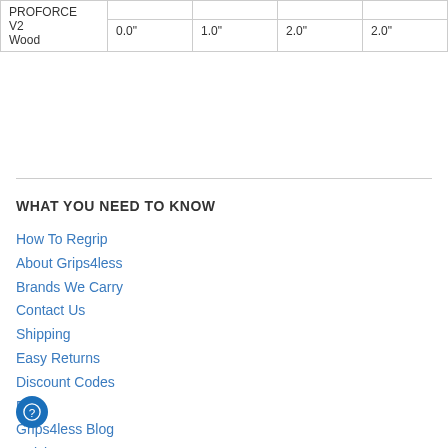|  |  |  |  |  |
| --- | --- | --- | --- | --- |
| PROFORCE |  |  |  |  |
| V2
Wood | 0.0" | 1.0" | 2.0" | 2.0" |
WHAT YOU NEED TO KNOW
How To Regrip
About Grips4less
Brands We Carry
Contact Us
Shipping
Easy Returns
Discount Codes
FAQ
Grips4less Blog
Articles
Terms